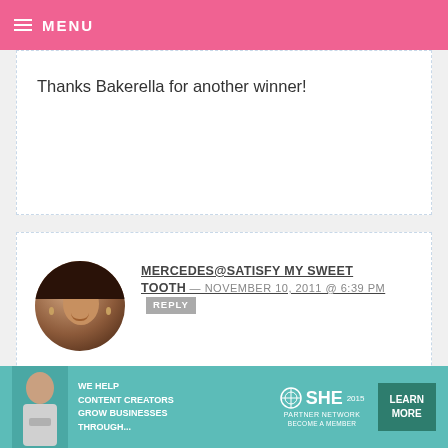MENU
Thanks Bakerella for another winner!
MERCEDES@SATISFY MY SWEET TOOTH — NOVEMBER 10, 2011 @ 6:39 PM REPLY
I am with... in cooki... the additi...
[Figure (screenshot): Video player overlay with black background, play button, progress bar at 13:52, and media controls]
KRISTI — NOVEMBER 10, 2011 @ 12:28 PM REPLY
[Figure (infographic): Teal advertisement banner: WE HELP CONTENT CREATORS GROW BUSINESSES THROUGH... SHE PARTNER NETWORK BECOME A MEMBER, with LEARN MORE button]